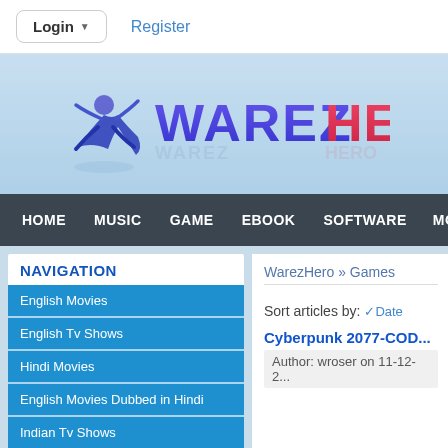Login  Register
[Figure (logo): WarezHero logo with stylized figure and gradient text reading WAREZHERO on a light blue background]
HOME  MUSIC  GAME  EBOOK  SOFTWARE  MOVIE  TV S...
NAVIGATION
English Movies
English Tv Shows
Hindi Movies
English Movies Dubbed in Hindi
Indian Tv Shows
Telugu Movies
WarezHero » Games
Sort articles by: ✓Date
Cyberpunk 2077-COD...
Author: wroser on 11-12-2...